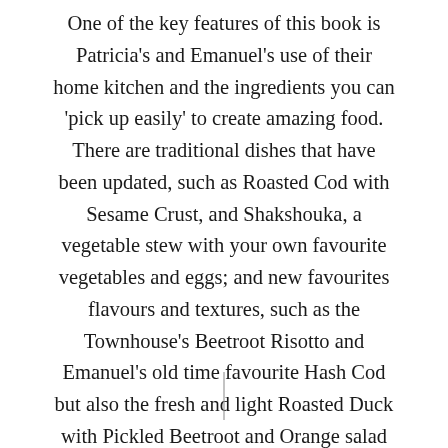One of the key features of this book is Patricia's and Emanuel's use of their home kitchen and the ingredients you can 'pick up easily' to create amazing food. There are traditional dishes that have been updated, such as Roasted Cod with Sesame Crust, and Shakshouka, a vegetable stew with your own favourite vegetables and eggs; and new favourites flavours and textures, such as the Townhouse's Beetroot Risotto and Emanuel's old time favourite Hash Cod but also the fresh and light Roasted Duck with Pickled Beetroot and Orange salad which Patricia loves.